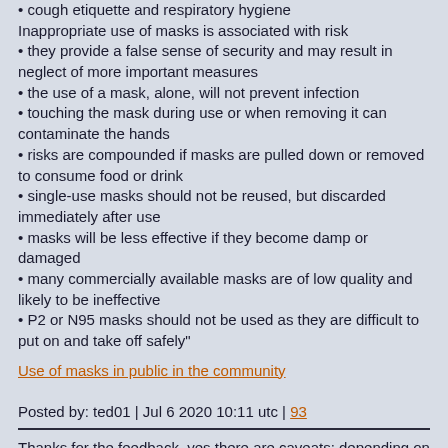• cough etiquette and respiratory hygiene
Inappropriate use of masks is associated with risk
• they provide a false sense of security and may result in neglect of more important measures
• the use of a mask, alone, will not prevent infection
• touching the mask during use or when removing it can contaminate the hands
• risks are compounded if masks are pulled down or removed to consume food or drink
• single-use masks should not be reused, but discarded immediately after use
• masks will be less effective if they become damp or damaged
• many commercially available masks are of low quality and likely to be ineffective
• P2 or N95 masks should not be used as they are difficult to put on and take off safely"
Use of masks in public in the community
Posted by: ted01 | Jul 6 2020 10:11 utc | 93
Thanks for the feedback, yes there are caveats: depending on the beginning of the epidemy but also the density etc. I was surprised of the US number but indeed James